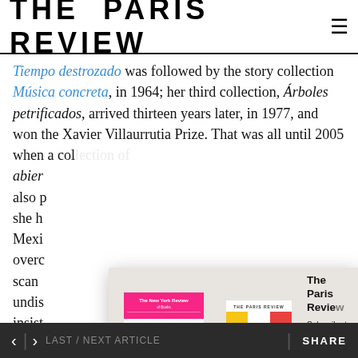THE PARIS REVIEW
Tiempo destrozado was followed by the story collection Música concreta, in 1964; her third collection, Árboles petrificados, arrived thirteen years later, in 1977, and won the Xavier Villaurrutia Prize. That was all until 2005 when a collection of... abie... also p... she h... Mexi... overc... scan... undis... insist... comp... small body of work, she has garnered a reputation for
[Figure (illustration): Subscription modal overlay showing two magazine covers (The New York Review and The Paris Review) with a plus sign between them, a heading 'The Paris Review', subscription text, and a blue 'Subscribe Now' button]
< | > LAST / NEXT ARTICLE   SHARE